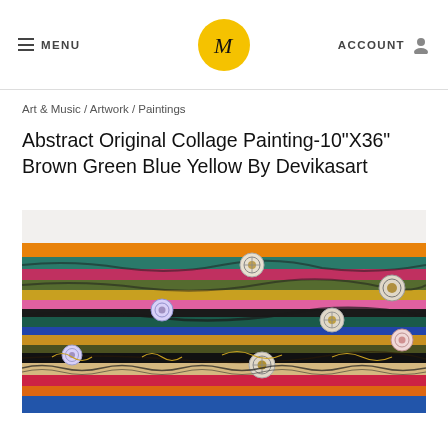MENU | [logo] | ACCOUNT
Art & Music / Artwork / Paintings
Abstract Original Collage Painting-10"X36" Brown Green Blue Yellow By Devikasart
[Figure (photo): Abstract collage painting with horizontal layers of vivid colors including orange, teal, green, yellow, pink, red, and black with decorative medallion/rosette motifs scattered throughout]